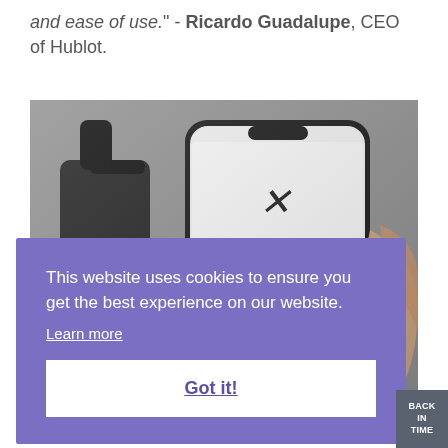and ease of use." - Ricardo Guadalupe, CEO of Hublot.
[Figure (photo): A hand holding a smartphone displaying a watch app with a red watch on screen, next to a black luxury watch on a grey surface.]
This website uses cookies to ensure you get the best experience on our website.
Learn more
Got it!
BACK IN TIME